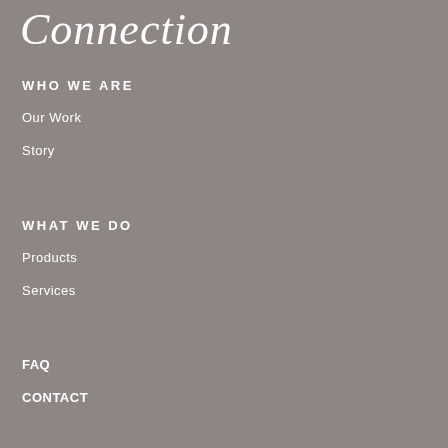Connection
WHO WE ARE
Our Work
Story
WHAT WE DO
Products
Services
FAQ
CONTACT